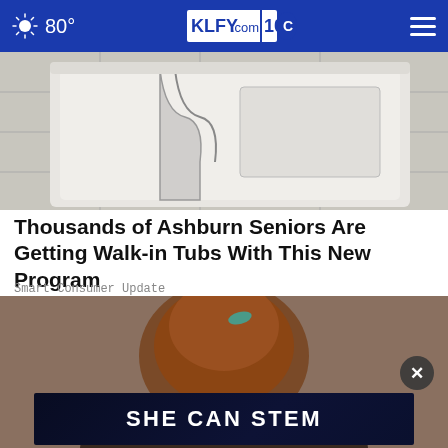80° KLFY.com 10
[Figure (photo): Walk-in tub product photo showing the step-in door and interior of a white walk-in bathtub against a stone tile background]
Thousands of Ashburn Seniors Are Getting Walk-in Tubs With This New Program
Smart Consumer Update
[Figure (photo): Portrait of a woman with auburn upswept hair and a teal hair accessory, against a brownish background]
[Figure (infographic): Dark navy advertisement banner reading SHE CAN STEM with an X close button overlay]